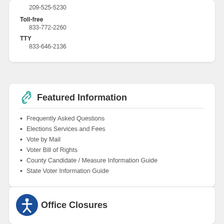209-525-5230
Toll-free
833-772-2260
TTY
833-646-2136
Featured Information
Frequently Asked Questions
Elections Services and Fees
Vote by Mail
Voter Bill of Rights
County Candidate / Measure Information Guide
State Voter Information Guide
Office Closures